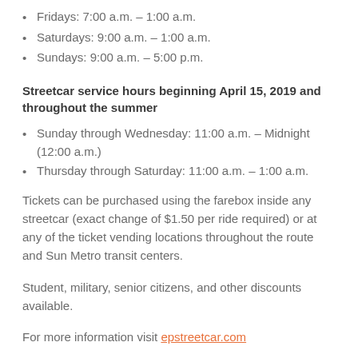Fridays: 7:00 a.m. – 1:00 a.m.
Saturdays: 9:00 a.m. – 1:00 a.m.
Sundays: 9:00 a.m. – 5:00 p.m.
Streetcar service hours beginning April 15, 2019 and throughout the summer
Sunday through Wednesday: 11:00 a.m. – Midnight (12:00 a.m.)
Thursday through Saturday: 11:00 a.m. – 1:00 a.m.
Tickets can be purchased using the farebox inside any streetcar (exact change of $1.50 per ride required) or at any of the ticket vending locations throughout the route and Sun Metro transit centers.
Student, military, senior citizens, and other discounts available.
For more information visit epstreetcar.com